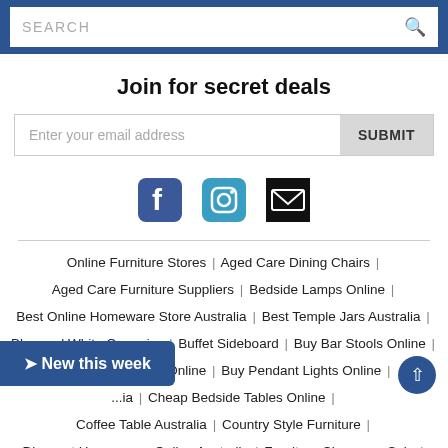SEARCH
Join for secret deals
Enter your email address | SUBMIT
[Figure (infographic): Social media icons: Facebook, Instagram, Email]
Online Furniture Stores | Aged Care Dining Chairs |
Aged Care Furniture Suppliers | Bedside Lamps Online |
Best Online Homeware Store Australia | Best Temple Jars Australia |
Blue and White Ceramics | Buffet Sideboard | Buy Bar Stools Online |
Buy Dining Chairs Online | Buy Pendant Lights Online |
...ia | Cheap Bedside Tables Online |
Coffee Table Australia | Country Style Furniture |
Discount Homewares Online Australia | Furniture Clearance Sale |
Hampton Style Chairs Australia | Hamptons Dining Chairs Australia |